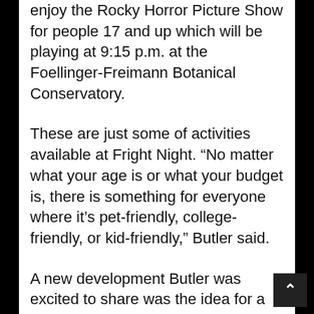enjoy the Rocky Horror Picture Show for people 17 and up which will be playing at 9:15 p.m. at the Foellinger-Freimann Botanical Conservatory.
These are just some of activities available at Fright Night. “No matter what your age is or what your budget is, there is something for everyone where it’s pet-friendly, college-friendly, or kid-friendly,” Butler said.
A new development Butler was excited to share was the idea for a Fright Night guide that will become available Oct. 15 in the Journal Gazette and the News-Sentinel. This guide will include a parking map, map of activities and the details for each one.
For more information on the 2015 Fright Night, visit http://downtownfortwayne.com/fright-